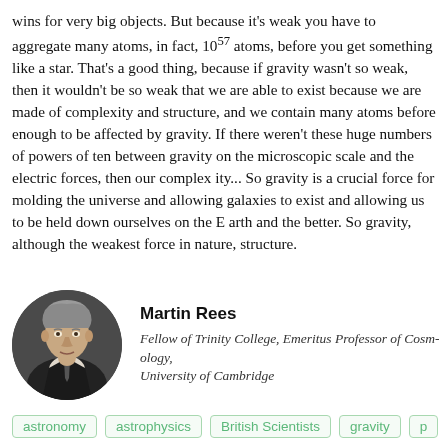wins for very big objects. But because it's weak you have to aggregate many atoms, in fact, 10^57 atoms, before you get something like a star. That's a good thing, because if gravity wasn't so weak, then it wouldn't be so weak that we are able to exist because we are made of complexity and structure, and we contain many atoms before enough to be affected by gravity. If there weren't these huge numbers of powers of ten between gravity on the microscopic scale and the electric forces, then our complexity... So gravity is a crucial force for molding the universe and allowing galaxies to exist and allowing us to be held down ourselves on the Earth and the better. So gravity, although the weakest force in nature, gives structure.
[Figure (photo): Circular portrait photo of Martin Rees, an older man in a suit]
Martin Rees
Fellow of Trinity College, Emeritus Professor of Cosmology, University of Cambridge
astronomy
astrophysics
British Scientists
gravity
p